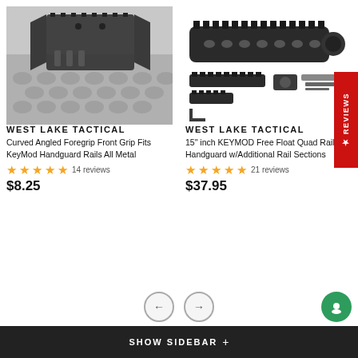[Figure (photo): Black curved angled foregrip front grip on a KeyMod handguard rail]
WEST LAKE TACTICAL
Curved Angled Foregrip Front Grip Fits KeyMod Handguard Rails All Metal
14 reviews
$8.25
[Figure (photo): 15 inch KEYMOD Free Float Quad Rail Handguard with additional rail sections components laid out]
WEST LAKE TACTICAL
15" inch KEYMOD Free Float Quad Rail Handguard w/Additional Rail Sections
21 reviews
$37.95
SHOW SIDEBAR +